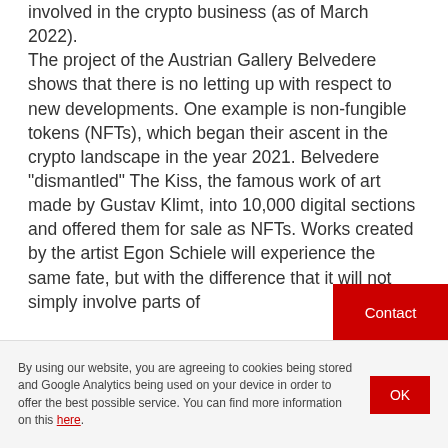involved in the crypto business (as of March 2022). The project of the Austrian Gallery Belvedere shows that there is no letting up with respect to new developments. One example is non-fungible tokens (NFTs), which began their ascent in the crypto landscape in the year 2021. Belvedere "dismantled" The Kiss, the famous work of art made by Gustav Klimt, into 10,000 digital sections and offered them for sale as NFTs. Works created by the artist Egon Schiele will experience the same fate, but with the difference that it will not simply involve parts of
Contact
By using our website, you are agreeing to cookies being stored and Google Analytics being used on your device in order to offer the best possible service. You can find more information on this here.